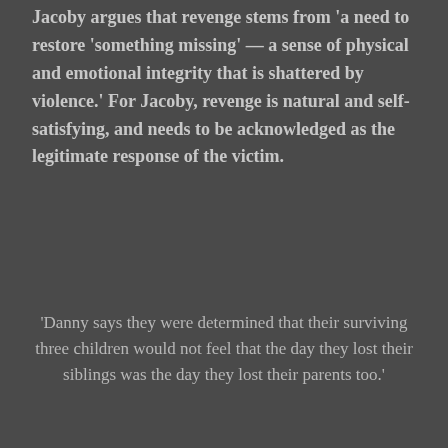Jacoby argues that revenge stems from 'a need to restore 'something missing' — a sense of physical and emotional integrity that is shattered by violence.' For Jacoby, revenge is natural and self-satisfying, and needs to be acknowledged as the legitimate response of the victim.
'Danny says they were determined that their surviving three children would not feel that the day they lost their siblings was the day they lost their parents too.'